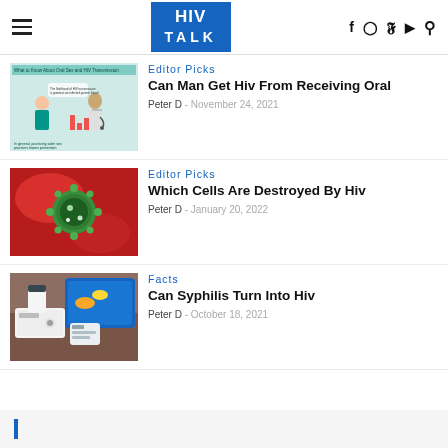HIV TALK
[Figure (illustration): Illustration showing two people discussing oral sex and HIV transmission, with infographic text]
Editor Picks
Can Man Get Hiv From Receiving Oral
Peter D  -  November 24, 2021
[Figure (photo): Close-up photo of a green HIV virus particle on a red background]
Editor Picks
Which Cells Are Destroyed By Hiv
Peter D  -  January 20, 2022
[Figure (photo): Photo of medical test devices and medications on a surface]
Facts
Can Syphilis Turn Into Hiv
Peter D  -  October 18, 2021